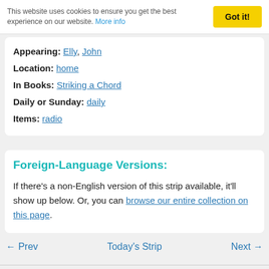This website uses cookies to ensure you get the best experience on our website. More info
Appearing: Elly, John
Location: home
In Books: Striking a Chord
Daily or Sunday: daily
Items: radio
Foreign-Language Versions:
If there's a non-English version of this strip available, it'll show up below. Or, you can browse our entire collection on this page.
← Prev   Today's Strip   Next →